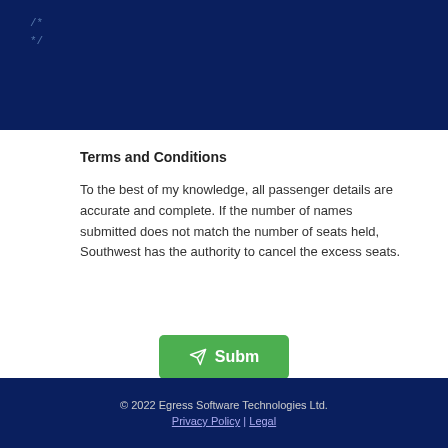/* */
Terms and Conditions
To the best of my knowledge, all passenger details are accurate and complete. If the number of names submitted does not match the number of seats held, Southwest has the authority to cancel the excess seats.
[Figure (other): Green submit button with paper plane icon and text 'Subm']
© The Group Travel Services number is 1-800-433-5368 and hours of operation are Monday through Friday, 5:00 a.m. to midnight Central time.
© 2022 Egress Software Technologies Ltd. Privacy Policy | Legal